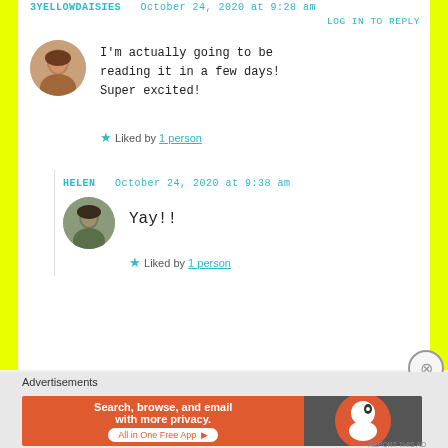3YELLOWDAISIES  October 24, 2020 at 9:28 am
LOG IN TO REPLY
I'm actually going to be reading it in a few days! Super excited!
★ Liked by 1 person
HELEN  October 24, 2020 at 9:38 am
Yay!!
★ Liked by 1 person
Advertisements
[Figure (infographic): DuckDuckGo advertisement banner: Search, browse, and email with more privacy. All in One Free App]